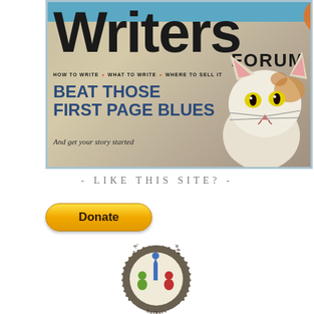[Figure (illustration): Writers Forum magazine cover showing large 'Writers' title text, 'FORUM' subtitle, tagline 'HOW TO WRITE • WHAT TO WRITE • WHERE TO SELL IT', headline 'BEAT THOSE FIRST PAGE BLUES', subheadline 'And get your story started', and a photo of a white cat with orange eyes.]
- LIKE THIS SITE? -
[Figure (other): PayPal Donate button - yellow rounded rectangle with bold text 'Donate']
[Figure (logo): Alliance of Independent Authors badge/seal logo - circular badge with text 'The Alliance of Independent Authors' and colorful pen/people icon in green, blue, and red]